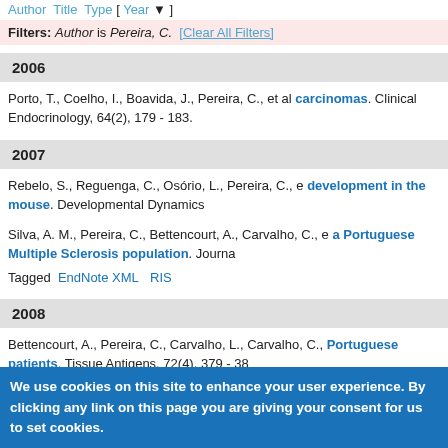Author Title Type [ Year ]
Filters: Author is Pereira, C.  [Clear All Filters]
2006
Porto, T., Coelho, I., Boavida, J., Pereira, C., et al. [article link: carcinomas]. Clinical Endocrinology, 64(2), 179 - 183.
2007
Rebelo, S., Reguenga, C., Osório, L., Pereira, C., e... [bold-blue: development in the mouse]. Developmental Dynamics...
Silva, A. M., Pereira, C., Bettencourt, A., Carvalho, C., e... [bold-blue: a Portuguese Multiple Sclerosis population]. Journa...
Tagged  EndNote XML  RIS
2008
Bettencourt, A., Pereira, C., Carvalho, L., Carvalho, C.,... [bold-blue: Portuguese patients]. Tissue Antigens, 72(4), 379 - 38...
2009
We use cookies on this site to enhance your user experience. By clicking any link on this page you are giving your consent for us to set cookies.